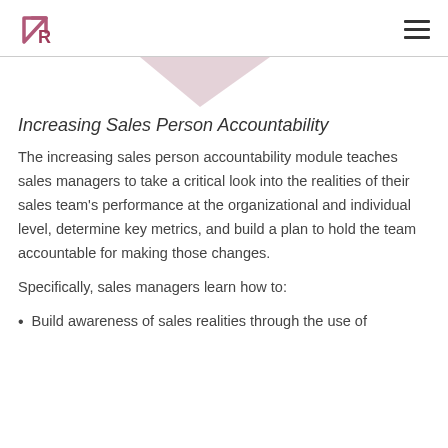[Figure (illustration): Decorative triangle/arrow shape in light rose/mauve color at top of content area]
Increasing Sales Person Accountability
The increasing sales person accountability module teaches sales managers to take a critical look into the realities of their sales team's performance at the organizational and individual level, determine key metrics, and build a plan to hold the team accountable for making those changes.
Specifically, sales managers learn how to:
Build awareness of sales realities through the use of